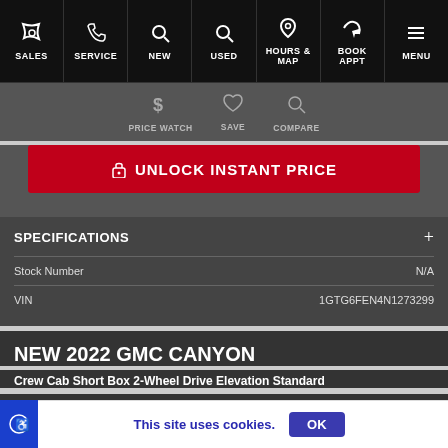SALES | SERVICE | NEW | USED | HOURS & MAP | BOOK APPT | MENU
PRICE WATCH  SAVE  COMPARE
🔒 UNLOCK INSTANT PRICE
SPECIFICATIONS
| Field | Value |
| --- | --- |
| Stock Number | N/A |
| VIN | 1GTG6FEN4N1273299 |
NEW 2022 GMC CANYON
Crew Cab Short Box 2-Wheel Drive Elevation Standard
MSRP $34,700
This site uses cookies.  OK